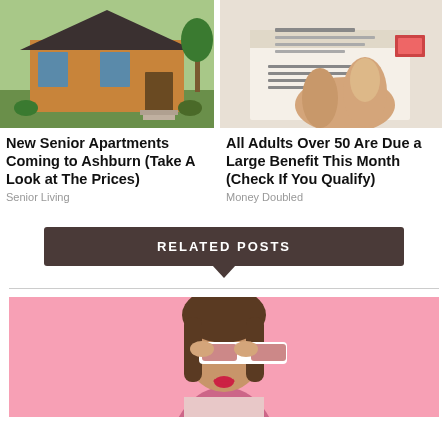[Figure (photo): Exterior photo of a wooden single-story home with large windows, plants, and paved walkway]
[Figure (photo): Hand holding a government envelope/check, showing address details]
New Senior Apartments Coming to Ashburn (Take A Look at The Prices)
Senior Living
All Adults Over 50 Are Due a Large Benefit This Month (Check If You Qualify)
Money Doubled
RELATED POSTS
[Figure (photo): Young woman with long hair wearing white sunglasses against a pink background]